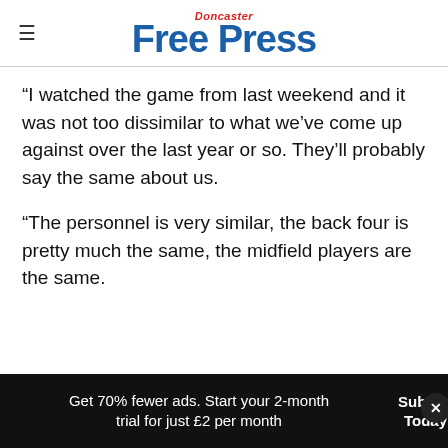Doncaster Free Press
“I watched the game from last weekend and it was not too dissimilar to what we’ve come up against over the last year or so. They’ll probably say the same about us.
“The personnel is very similar, the back four is pretty much the same, the midfield players are the same.
Get 70% fewer ads. Start your 2-month trial for just £2 per month | Subscribe Today